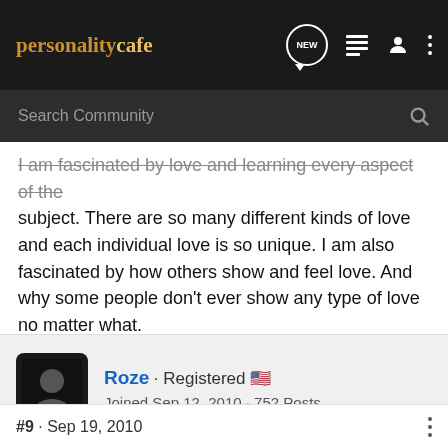personalitycafe
I am fascinated by love and learning every aspect of the subject. There are so many different kinds of love and each individual love is so unique. I am also fascinated by how others show and feel love. And why some people don't ever show any type of love no matter what.
👍 Noxus
Roze · Registered 🇺🇸
Joined Sep 12, 2010 · 752 Posts
#9 · Sep 19, 2010